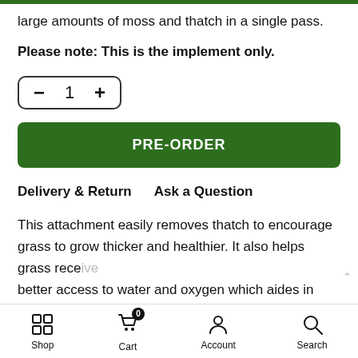large amounts of moss and thatch in a single pass.
Please note: This is the implement only.
- 1 +
PRE-ORDER
Delivery & Return    Ask a Question
This attachment easily removes thatch to encourage grass to grow thicker and healthier. It also helps grass receive better access to water and oxygen which aides in deeper
Shop  Cart  Account  Search